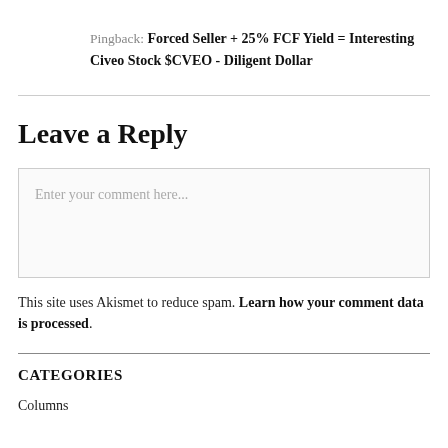Pingback: Forced Seller + 25% FCF Yield = Interesting Civeo Stock $CVEO - Diligent Dollar
Leave a Reply
Enter your comment here...
This site uses Akismet to reduce spam. Learn how your comment data is processed.
CATEGORIES
Columns